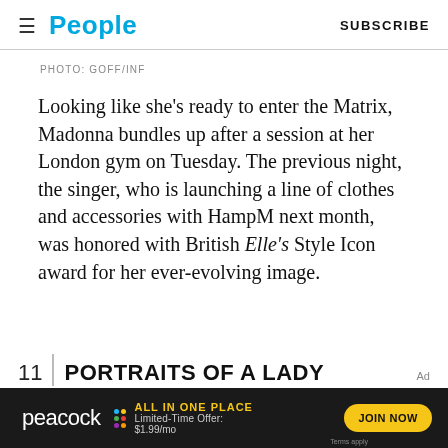People | SUBSCRIBE
PHOTO: GOFF/INF
Looking like she's ready to enter the Matrix, Madonna bundles up after a session at her London gym on Tuesday. The previous night, the singer, who is launching a line of clothes and accessories with HampM next month, was honored with British Elle's Style Icon award for her ever-evolving image.
11 | PORTRAITS OF A LADY